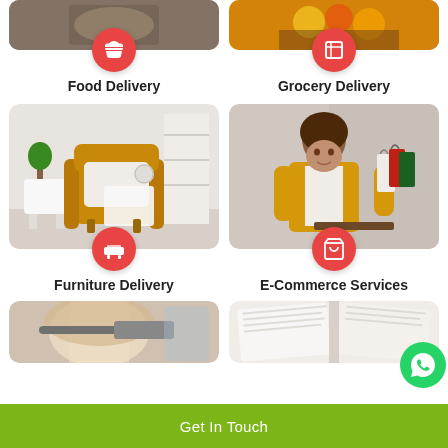[Figure (photo): Food delivery category card with photo of food on top, red circle icon with cloche/dome icon, labeled Food Delivery]
[Figure (photo): Grocery delivery category card with photo of fruits/groceries on top, red circle icon with box icon, labeled Grocery Delivery]
[Figure (photo): Furniture delivery category card with photo of yellow armchair, red circle icon with sofa icon, labeled Furniture Delivery]
[Figure (photo): E-Commerce services card with photo of woman in yellow jacket holding shopping bags, red circle basket icon, labeled E-Commerce Services]
[Figure (photo): Partial photo bottom-left: person with hair tools]
[Figure (photo): Partial photo bottom-right: open book/pages]
Get In Touch